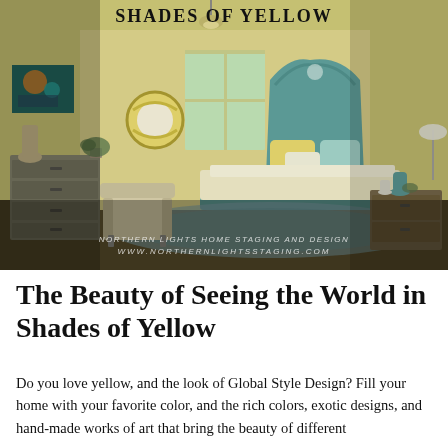SHADES OF YELLOW
[Figure (photo): Interior bedroom photo showing a teal/turquoise bed with ornate headboard, yellow walls, two circular mirror decorations, a gray dresser, an armchair, and a nightstand. The room has a Global Style Design aesthetic with warm yellow tones throughout. Watermark reads: NORTHERN LIGHTS HOME STAGING AND DESIGN / WWW.NORTHERNLIGHTSSTAGING.COM]
The Beauty of Seeing the World in Shades of Yellow
Do you love yellow, and the look of Global Style Design? Fill your home with your favorite color, and the rich colors, exotic designs, and hand-made works of art that bring the beauty of different